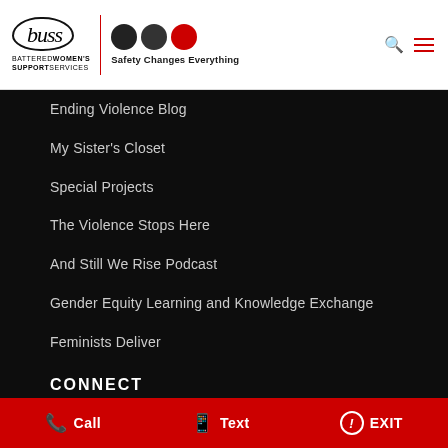[Figure (logo): BUSS Battered Women's Support Services logo with three circles and tagline 'Safety Changes Everything']
Ending Violence Blog
My Sister's Closet
Special Projects
The Violence Stops Here
And Still We Rise Podcast
Gender Equity Learning and Knowledge Exchange
Feminists Deliver
CONNECT
Call   Text   EXIT